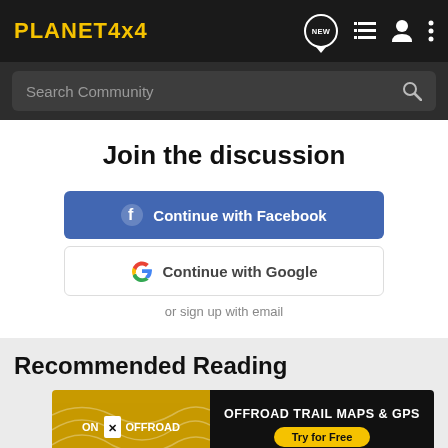PLANET4x4
[Figure (screenshot): Search bar with placeholder 'Search Community' and magnifying glass icon on dark background]
Join the discussion
[Figure (screenshot): Continue with Facebook button (blue) and Continue with Google button (white) and 'or sign up with email' text]
Recommended Reading
[Figure (screenshot): ON X OFFROAD advertisement banner: OFFROAD TRAIL MAPS & GPS, Try for Free]
12-3/4